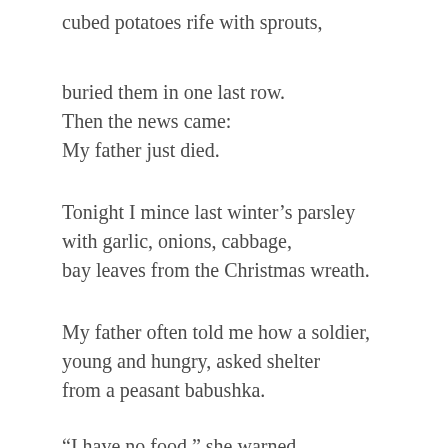cubed potatoes rife with sprouts,
buried them in one last row.
Then the news came:
My father just died.
Tonight I mince last winter’s parsley
with garlic, onions, cabbage,
bay leaves from the Christmas wreath.
My father often told me how a soldier,
young and hungry, asked shelter
from a peasant babushka.
“I have no food,” she warned.
Then from his pack he took a pebble,